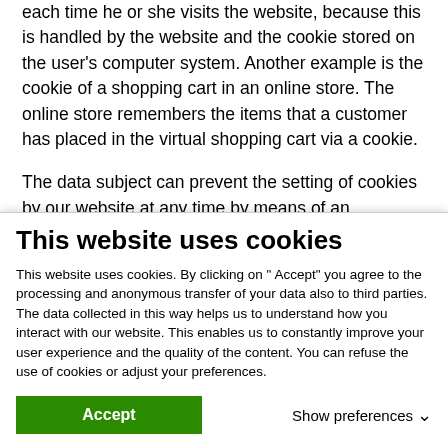each time he or she visits the website, because this is handled by the website and the cookie stored on the user's computer system. Another example is the cookie of a shopping cart in an online store. The online store remembers the items that a customer has placed in the virtual shopping cart via a cookie.
The data subject can prevent the setting of cookies by our website at any time by means of an appropriate setting of the Internet browser used and thus permanently object to the setting of cookies. Furthermore, cookies that have already been set can be deleted at any time via an Internet browser
This website uses cookies
This website uses cookies. By clicking on " Accept" you agree to the processing and anonymous transfer of your data also to third parties. The data collected in this way helps us to understand how you interact with our website. This enables us to constantly improve your user experience and the quality of the content. You can refuse the use of cookies or adjust your preferences.
Accept
Show preferences